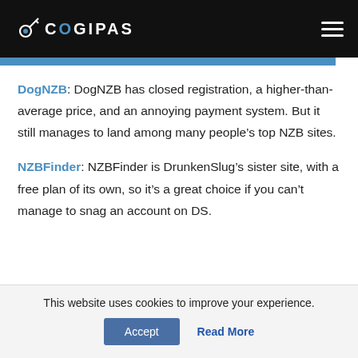COGIPAS
DogNZB: DogNZB has closed registration, a higher-than-average price, and an annoying payment system. But it still manages to land among many people’s top NZB sites.
NZBFinder: NZBFinder is DrunkenSlug’s sister site, with a free plan of its own, so it’s a great choice if you can’t manage to snag an account on DS.
This website uses cookies to improve your experience.